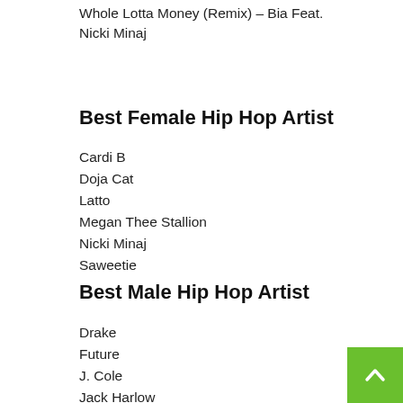Whole Lotta Money (Remix) – Bia Feat. Nicki Minaj
Best Female Hip Hop Artist
Cardi B
Doja Cat
Latto
Megan Thee Stallion
Nicki Minaj
Saweetie
Best Male Hip Hop Artist
Drake
Future
J. Cole
Jack Harlow
Kanye West
Kendrick Lamar
Lil Baby